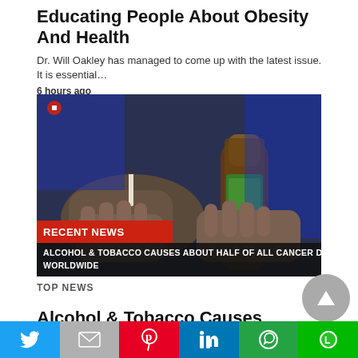Educating People About Obesity And Health
Dr. Will Oakley has managed to come up with the latest issue. It is essential…
6 hours ago
[Figure (screenshot): News broadcast screenshot showing hands holding a cigarette and a beer bottle, with chyron reading 'RECENT NEWS' and 'ALCOHOL & TOBACCO CAUSES ABOUT HALF OF ALL CANCER DEATHS WORLDWIDE']
TOP NEWS
Alcohol & Tobacco Causes About Half Of All